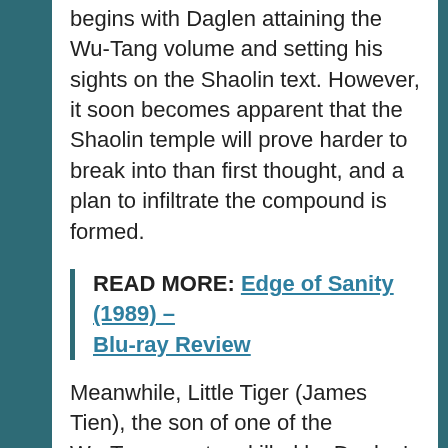begins with Daglen attaining the Wu-Tang volume and setting his sights on the Shaolin text. However, it soon becomes apparent that the Shaolin temple will prove harder to break into than first thought, and a plan to infiltrate the compound is formed.
READ MORE: Edge of Sanity (1989) – Blu-ray Review
Meanwhile, Little Tiger (James Tien), the son of one of the Wu-Tang masters killed by Daglen's people, swears to get revenge. Little Tiger ends up training with a blind monk, who teaches him advanced fighting